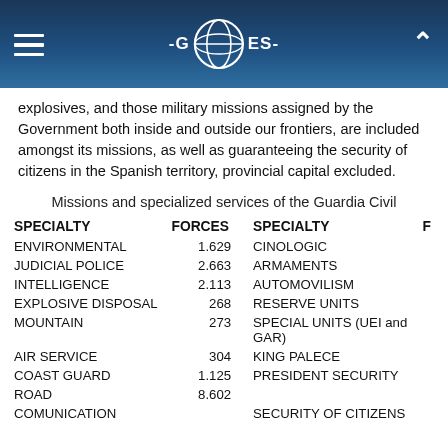-G E E S- [logo with globe]
explosives, and those military missions assigned by the Government both inside and outside our frontiers, are included amongst its missions, as well as guaranteeing the security of citizens in the Spanish territory, provincial capital excluded.
Missions and specialized services of the Guardia Civil
| SPECIALTY | FORCES | SPECIALTY | F |
| --- | --- | --- | --- |
| ENVIRONMENTAL | 1.629 | CINOLOGIC |  |
| JUDICIAL POLICE | 2.663 | ARMAMENTS |  |
| INTELLIGENCE | 2.113 | AUTOMOVILISM |  |
| EXPLOSIVE DISPOSAL | 268 | RESERVE UNITS |  |
| MOUNTAIN | 273 | SPECIAL UNITS (UEI and GAR) |  |
| AIR SERVICE | 304 | KING PALECE |  |
| COAST GUARD | 1.125 | PRESIDENT SECURITY |  |
| ROAD | 8.602 |  |  |
| COMUNICATION |  | SECURITY OF CITIZENS |  |